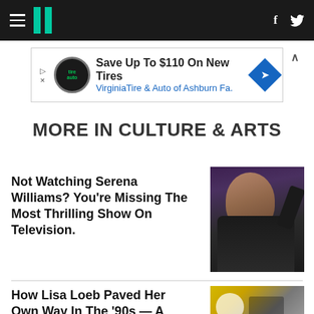HuffPost navigation bar with hamburger menu, logo, Facebook and Twitter icons
[Figure (other): Advertisement banner: Save Up To $110 On New Tires - VirginiaTire & Auto of Ashburn Fa.]
MORE IN CULTURE & ARTS
Not Watching Serena Williams? You're Missing The Most Thrilling Show On Television.
[Figure (photo): Photo of Serena Williams in black outfit, celebrating with raised fist]
How Lisa Loeb Paved Her Own Way In The '90s — A